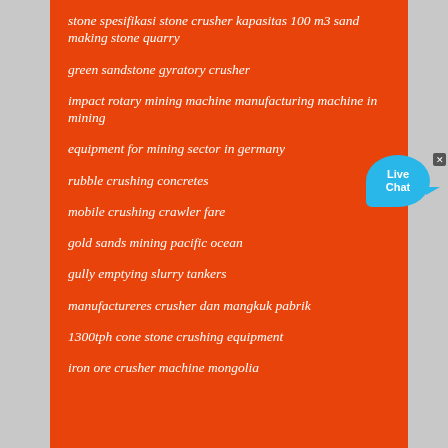stone spesifikasi stone crusher kapasitas 100 m3 sand making stone quarry
green sandstone gyratory crusher
impact rotary mining machine manufacturing machine in mining
equipment for mining sector in germany
rubble crushing concretes
mobile crushing crawler fare
gold sands mining pacific ocean
gully emptying slurry tankers
manufactureres crusher dan mangkuk pabrik
1300tph cone stone crushing equipment
iron ore crusher machine mongolia
[Figure (illustration): Live Chat button widget — a cyan speech bubble with 'Live Chat' text and a small close (x) button]